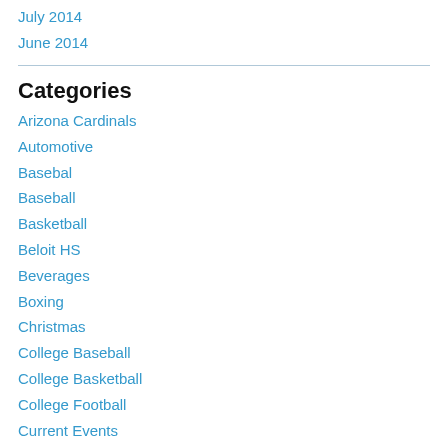July 2014
June 2014
Categories
Arizona Cardinals
Automotive
Basebal
Baseball
Basketball
Beloit HS
Beverages
Boxing
Christmas
College Baseball
College Basketball
College Football
Current Events
Darts
D...